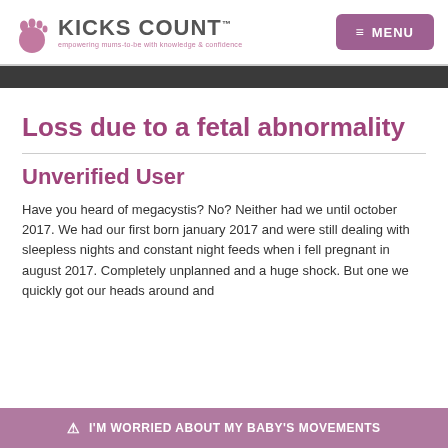KICKS COUNT™ — empowering mums-to-be with knowledge & confidence | MENU
Loss due to a fetal abnormality
Unverified User
Have you heard of megacystis? No? Neither had we until october 2017. We had our first born january 2017 and were still dealing with sleepless nights and constant night feeds when i fell pregnant in august 2017. Completely unplanned and a huge shock. But one we quickly got our heads around and
⚠ I'M WORRIED ABOUT MY BABY'S MOVEMENTS